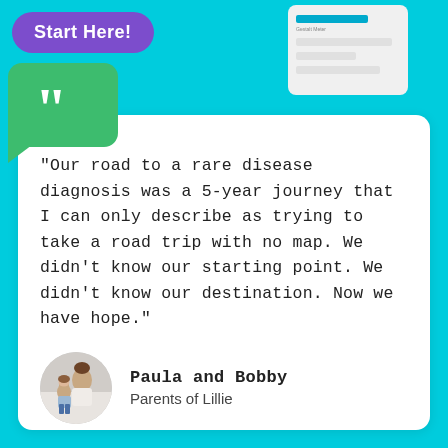[Figure (screenshot): Top banner with purple 'Start Here!' button and phone screenshot showing app interface on cyan background]
[Figure (illustration): Green speech bubble with large white quotation mark icon in upper left of testimonial card]
"Our road to a rare disease diagnosis was a 5-year journey that I can only describe as trying to take a road trip with no map. We didn't know our starting point. We didn't know our destination. Now we have hope."
[Figure (photo): Circular photo of Paula and Bobby, parents sitting with young child Lillie]
Paula and Bobby
Parents of Lillie